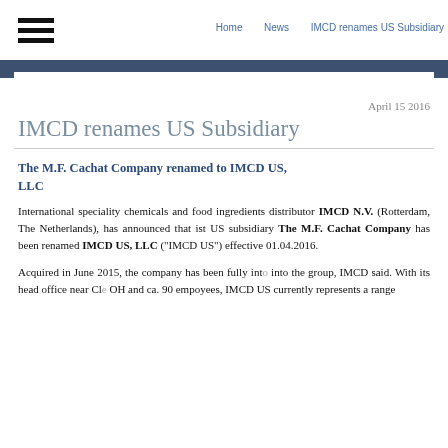Home  News  IMCD renames US Subsidiary
April 15 2016
IMCD renames US Subsidiary
The M.F. Cachat Company renamed to IMCD US, LLC
International speciality chemicals and food ingredients distributor IMCD N.V. (Rotterdam, The Netherlands), has announced that ist US subsidiary The M.F. Cachat Company has been renamed IMCD US, LLC (“IMCD US”) effective 01.04.2016.
Acquired in June 2015, the company has been fully into into the group, IMCD said. With its head office near Cle OH and ca. 90 empoyees, IMCD US currently represents a range